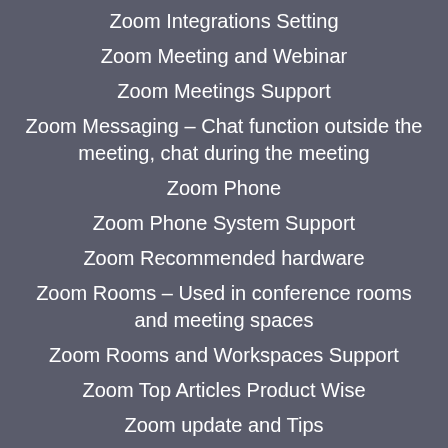Zoom Integrations Setting
Zoom Meeting and Webinar
Zoom Meetings Support
Zoom Messaging – Chat function outside the meeting, chat during the meeting
Zoom Phone
Zoom Phone System Support
Zoom Recommended hardware
Zoom Rooms – Used in conference rooms and meeting spaces
Zoom Rooms and Workspaces Support
Zoom Top Articles Product Wise
Zoom update and Tips
Zoom User Support by Product and Topic
Zoom Webinar Support